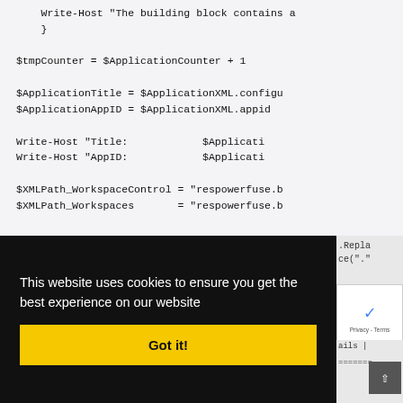Write-Host "The building block contains a
    }

$tmpCounter = $ApplicationCounter + 1

$ApplicationTitle = $ApplicationXML.configu
$ApplicationAppID = $ApplicationXML.appid

Write-Host "Title:            $Applicati
Write-Host "AppID:            $Applicati

$XMLPath_WorkspaceControl = "respowerfuse.b
$XMLPath_Workspaces       = "respowerfuse.b
This website uses cookies to ensure you get the best experience on our website
Got it!
.Repla
ce("."
Privacy - Terms
ails |
=======
# The workspaces GUID